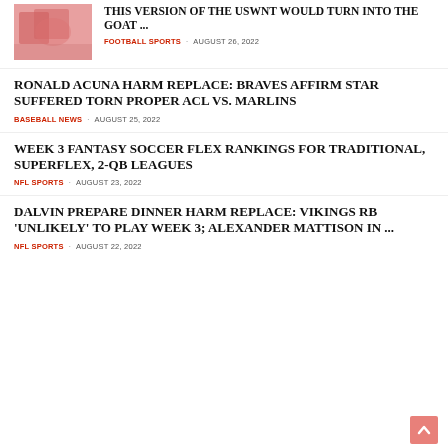[Figure (photo): Sports action photo with pink/red tones showing athletes]
THIS VERSION OF THE USWNT WOULD TURN INTO THE GOAT ...
FOOTBALL SPORTS  AUGUST 26, 2022
RONALD ACUNA HARM REPLACE: BRAVES AFFIRM STAR SUFFERED TORN PROPER ACL VS. MARLINS
BASEBALL NEWS  AUGUST 25, 2022
WEEK 3 FANTASY SOCCER FLEX RANKINGS FOR TRADITIONAL, SUPERFLEX, 2-QB LEAGUES
NFL SPORTS  AUGUST 23, 2022
DALVIN PREPARE DINNER HARM REPLACE: VIKINGS RB 'UNLIKELY' TO PLAY WEEK 3; ALEXANDER MATTISON IN ...
NFL SPORTS  AUGUST 22, 2022